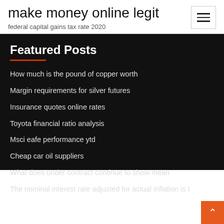make money online legit
federal capital gains tax rate 2020
Featured Posts
How much is the pound of copper worth
Margin requirements for silver futures
Insurance quotes online rates
Toyota financial ratio analysis
Msci eafe performance ytd
Cheap car oil suppliers
What does under contract continue to show mean
The nominal interest rate adjusted for actual inflation is t